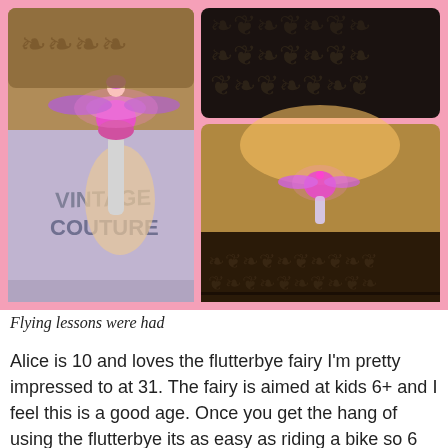[Figure (photo): Collage of three photos on a pink background. Left: a girl in a 'Vintage Couture' t-shirt holding a pink flying fairy toy with purple glowing wings. Top right: dark/patterned background. Bottom right: pink fairy toy flying in mid-air against a warm-lit room with patterned wallpaper.]
Flying lessons were had
Alice is 10 and loves the flutterbye fairy I'm pretty impressed to at 31. The fairy is aimed at kids 6+ and I feel this is a good age. Once you get the hang of using the flutterbye its as easy as riding a bike so 6 year olds will fully enjoy the challenge and achievement when mastering